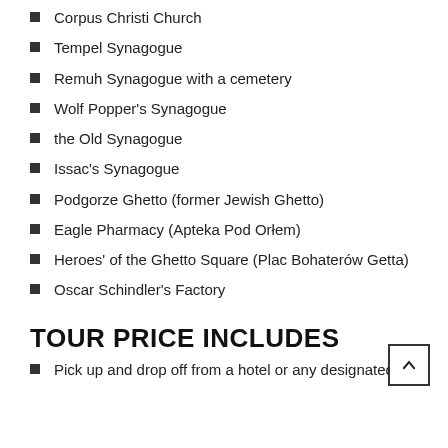Corpus Christi Church
Tempel Synagogue
Remuh Synagogue with a cemetery
Wolf Popper's Synagogue
the Old Synagogue
Issac's Synagogue
Podgorze Ghetto (former Jewish Ghetto)
Eagle Pharmacy (Apteka Pod Orłem)
Heroes' of the Ghetto Square (Plac Bohaterów Getta)
Oscar Schindler's Factory
TOUR PRICE INCLUDES
Pick up and drop off from a hotel or any designated